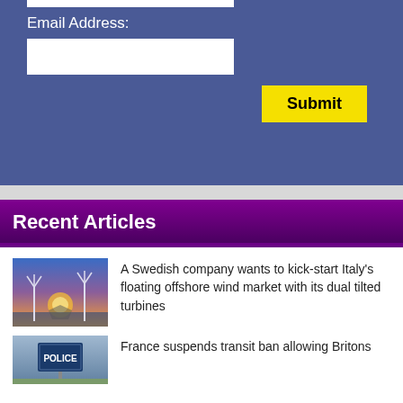Email Address:
[Figure (screenshot): White input field for email address]
[Figure (screenshot): Yellow Submit button]
Recent Articles
[Figure (photo): Offshore wind turbines at sunset]
A Swedish company wants to kick-start Italy's floating offshore wind market with its dual tilted turbines
[Figure (photo): Police sign near border, France transit ban article]
France suspends transit ban allowing Britons